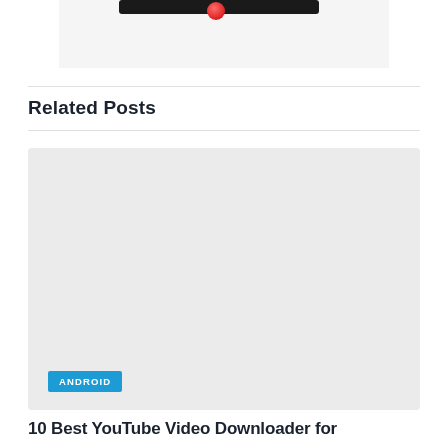[Figure (photo): Partial view of a phone/tablet screen with a black bar and a red ball on a light background]
Related Posts
[Figure (photo): Large light gray placeholder image for a related post card with an ANDROID category badge]
10 Best YouTube Video Downloader for